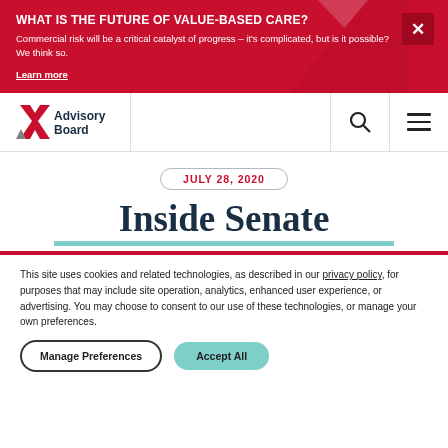[Figure (infographic): Red promotional banner with text 'WHAT IS THE FUTURE OF VALUE-BASED CARE?' and subtitle about commercial risk, with a Learn more link and a close X button]
[Figure (logo): Advisory Board logo with red X icon and gray/red text]
JULY 28, 2020
Inside Senate
This site uses cookies and related technologies, as described in our privacy policy, for purposes that may include site operation, analytics, enhanced user experience, or advertising. You may choose to consent to our use of these technologies, or manage your own preferences.
Manage Preferences | Accept All